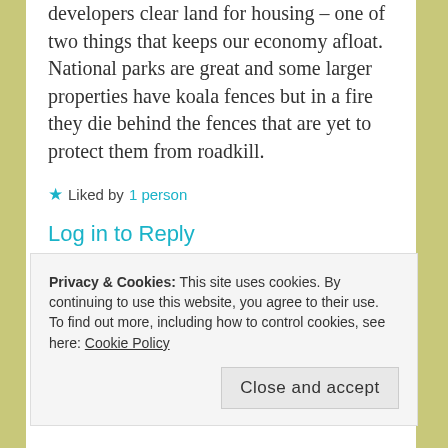developers clear land for housing – one of two things that keeps our economy afloat. National parks are great and some larger properties have koala fences but in a fire they die behind the fences that are yet to protect them from roadkill.
★ Liked by 1 person
Log in to Reply
Privacy & Cookies: This site uses cookies. By continuing to use this website, you agree to their use. To find out more, including how to control cookies, see here: Cookie Policy